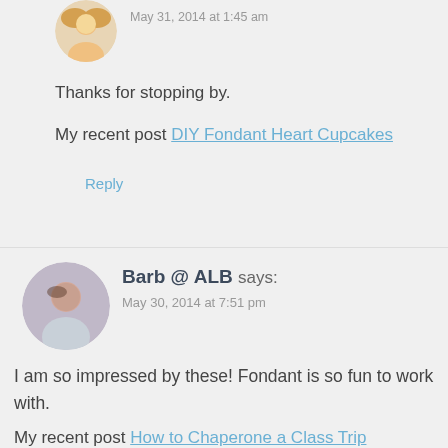[Figure (photo): Circular avatar of a blonde woman smiling, top of page]
May 31, 2014 at 1:45 am
Thanks for stopping by.
My recent post DIY Fondant Heart Cupcakes
Reply
[Figure (photo): Circular avatar of a woman with brown hair]
Barb @ ALB says:
May 30, 2014 at 7:51 pm
I am so impressed by these! Fondant is so fun to work with.
My recent post How to Chaperone a Class Trip